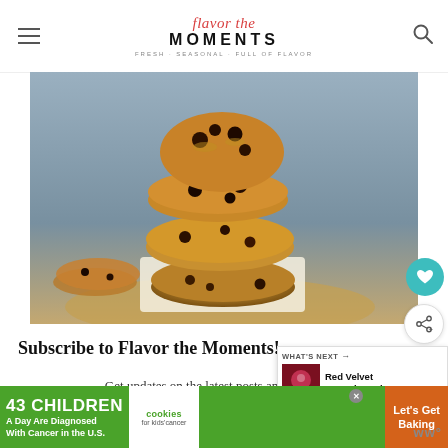Flavor the Moments — FRESH SEASONAL FULL OF FLAVOR
[Figure (photo): Stack of chocolate chip cookies on a wooden board with parchment paper, blue-grey background]
Subscribe to Flavor the Moments!
Get updates on the latest posts and more from Flavor the Moments straight to your inbox!
[Figure (infographic): What's Next panel: Red Velvet Cupcakes wi... thumbnail overlay]
[Figure (infographic): Ad banner: 43 CHILDREN A Day Are Diagnosed With Cancer in the U.S. — cookies for kids' cancer — Let's Get Baking]